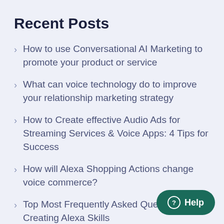Recent Posts
How to use Conversational AI Marketing to promote your product or service
What can voice technology do to improve your relationship marketing strategy
How to Create effective Audio Ads for Streaming Services & Voice Apps: 4 Tips for Success
How will Alexa Shopping Actions change voice commerce?
Top Most Frequently Asked Questions About Creating Alexa Skills